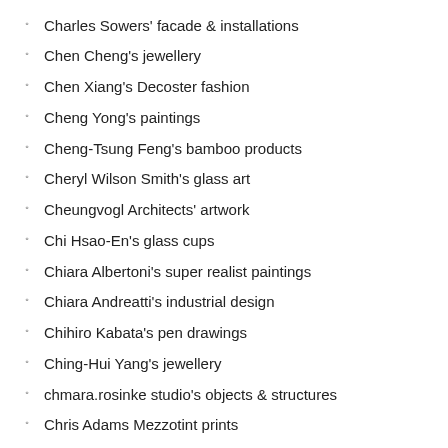Charles Sowers' facade & installations
Chen Cheng's jewellery
Chen Xiang's Decoster fashion
Cheng Yong's paintings
Cheng-Tsung Feng's bamboo products
Cheryl Wilson Smith's glass art
Cheungvogl Architects' artwork
Chi Hsao-En's glass cups
Chiara Albertoni's super realist paintings
Chiara Andreatti's industrial design
Chihiro Kabata's pen drawings
Ching-Hui Yang's jewellery
chmara.rosinke studio's objects & structures
Chris Adams Mezzotint prints
Chris Duczynski's drone photography
Christian Lock's paintings
Christian Vizl's underwater photography